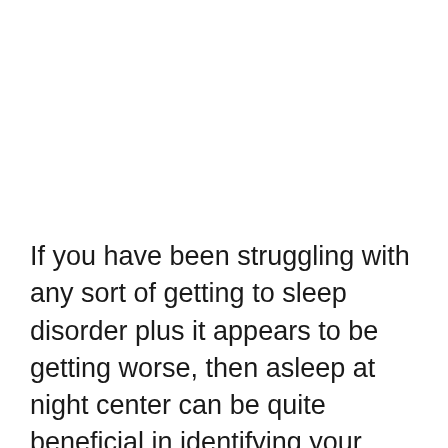If you have been struggling with any sort of getting to sleep disorder plus it appears to be getting worse, then asleep at night center can be quite beneficial in identifying your problem. A rest center (or heart) is actually a service where medical professionals carry out checks and sleeping reports on people who have